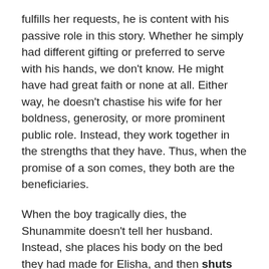fulfills her requests, he is content with his passive role in this story. Whether he simply had different gifting or preferred to serve with his hands, we don't know. He might have had great faith or none at all. Either way, he doesn't chastise his wife for her boldness, generosity, or more prominent public role. Instead, they work together in the strengths that they have. Thus, when the promise of a son comes, they both are the beneficiaries.
When the boy tragically dies, the Shunammite doesn't tell her husband. Instead, she places his body on the bed they had made for Elisha, and then shuts the door behind him. This is interesting considering that Elisha told the widow a few verses earlier to do the same while she poured oil into the empty vessels.
2 Kings 4:21 (NASB) She went up and laid him